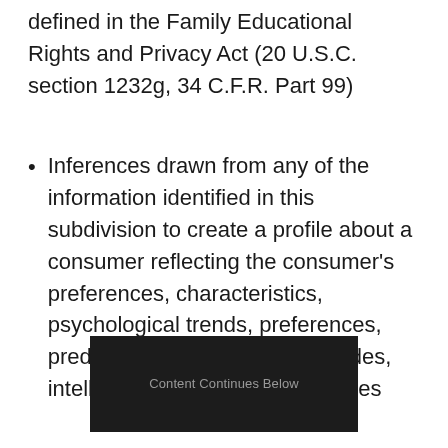defined in the Family Educational Rights and Privacy Act (20 U.S.C. section 1232g, 34 C.F.R. Part 99)
Inferences drawn from any of the information identified in this subdivision to create a profile about a consumer reflecting the consumer's preferences, characteristics, psychological trends, preferences, predispositions, behavior, attitudes, intelligence, abilities and aptitudes
[Figure (other): Dark advertisement banner with text 'Content Continues Below']
An amendment, AB 874, currently awaiting the